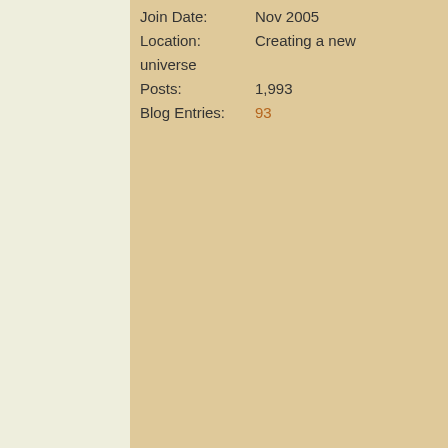Join Date: Nov 2005
Location: Creating a new universe
Posts: 1,993
Blog Entries: 93
As your thoughts dash & whoop
All around a booming baping u...
That flies around you with a sm...
Copyright 2022 by Wolf Larsen
Wolf Larsen performs his poetry...
"...the ramblings of a narcissisti...